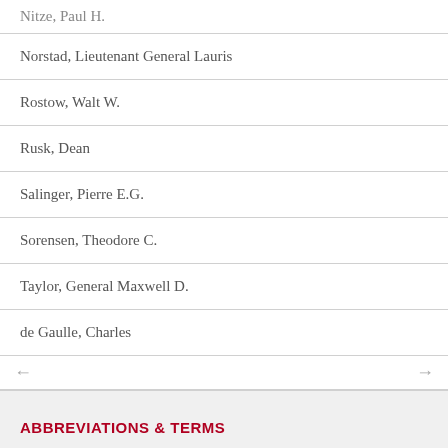| Nitze, Paul H. |
| Norstad, Lieutenant General Lauris |
| Rostow, Walt W. |
| Rusk, Dean |
| Salinger, Pierre E.G. |
| Sorensen, Theodore C. |
| Taylor, General Maxwell D. |
| de Gaulle, Charles |
ABBREVIATIONS & TERMS
| EUR |